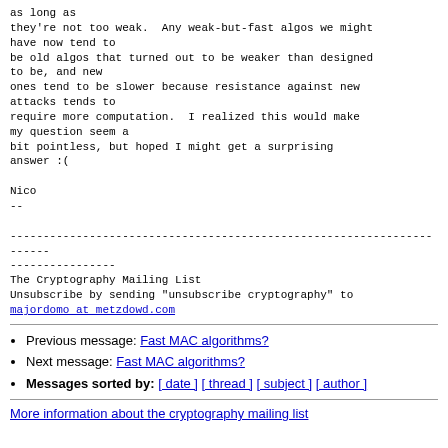as long as
they're not too weak.  Any weak-but-fast algos we might have now tend to
be old algos that turned out to be weaker than designed to be, and new
ones tend to be slower because resistance against new attacks tends to
require more computation.  I realized this would make my question seem a
bit pointless, but hoped I might get a surprising answer :(

Nico
--

----------------------------------------------------------------------

The Cryptography Mailing List
Unsubscribe by sending "unsubscribe cryptography" to
majordomo at metzdowd.com
Previous message: Fast MAC algorithms?
Next message: Fast MAC algorithms?
Messages sorted by: [ date ] [ thread ] [ subject ] [ author ]
More information about the cryptography mailing list